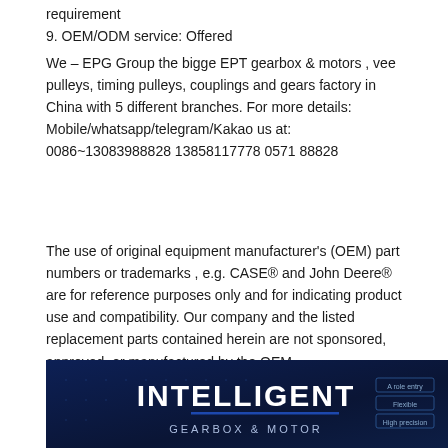requirement
9. OEM/ODM service: Offered
We – EPG Group the bigge EPT gearbox & motors , vee pulleys, timing pulleys, couplings and gears factory in China with 5 different branches. For more details: Mobile/whatsapp/telegram/Kakao us at: 0086~13083988828 13858117778 0571 88828
The use of original equipment manufacturer's (OEM) part numbers or trademarks , e.g. CASE® and John Deere® are for reference purposes only and for indicating product use and compatibility. Our company and the listed replacement parts contained herein are not sponsored, approved, or manufactured by the OEM.
[Figure (illustration): Dark navy blue banner with 'INTELLIGENT' text in large bold white letters, and 'GEARBOX & MOTOR' text below in smaller white letters. Small rectangular UI elements visible on the right side.]